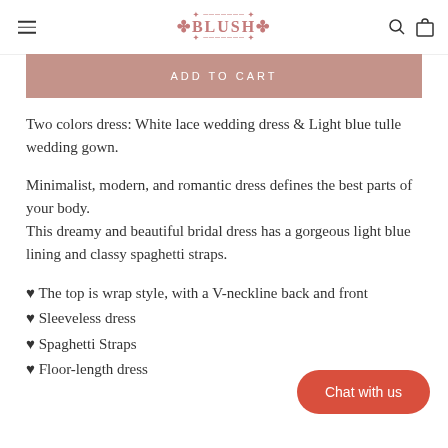BLUSH
ADD TO CART
Two colors dress: White lace wedding dress & Light blue tulle wedding gown.
Minimalist, modern, and romantic dress defines the best parts of your body.
This dreamy and beautiful bridal dress has a gorgeous light blue lining and classy spaghetti straps.
♥ The top is wrap style, with a V-neckline back and front
♥ Sleeveless dress
♥ Spaghetti Straps
♥ Floor-length dress
Chat with us